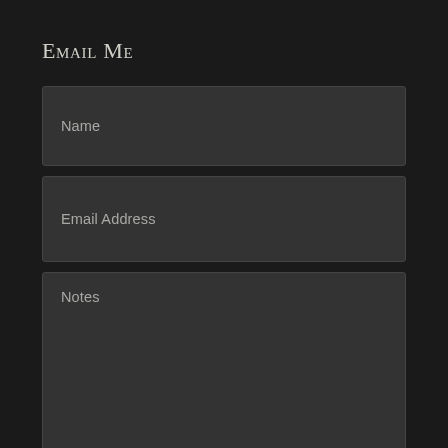Email Me
Name
Email Address
Notes
Submit